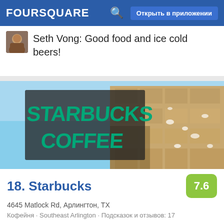FOURSQUARE | Открыть в приложении
Seth Vong: Good food and ice cold beers!
[Figure (photo): Photo of Starbucks Coffee building exterior sign against blue sky]
18. Starbucks
4645 Matlock Rd, Арлингтон, TX
Кофейня · Southeast Arlington · Подсказок и отзывов: 17